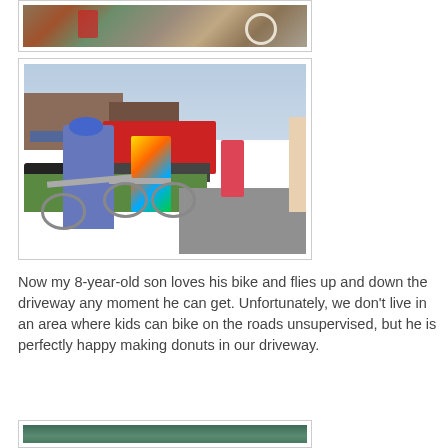[Figure (photo): Partial view of a photo showing a playground area with a red slide, bicycle wheel, and person at the top]
[Figure (photo): Family biking photo: woman in blue helmet and jersey standing with bicycle, child in colorful tie-dye shirt on bike, others in background, parking lot and storefronts visible]
Now my 8-year-old son loves his bike and flies up and down the driveway any moment he can get. Unfortunately, we don't live in an area where kids can bike on the roads unsupervised, but he is perfectly happy making donuts in our driveway.
[Figure (photo): Partial view of a photo showing outdoor scene, partially cut off at bottom of page]